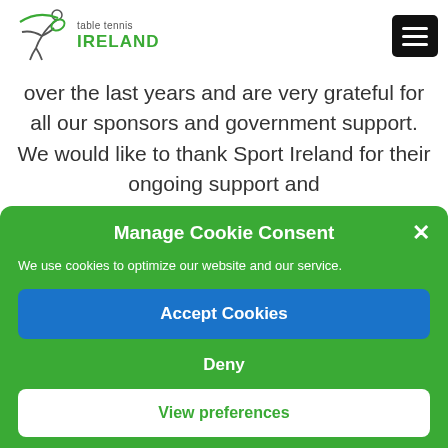[Figure (logo): Table Tennis Ireland logo with figure and green text]
over the last years and are very grateful for all our sponsors and government support. We would like to thank Sport Ireland for their ongoing support and
Manage Cookie Consent
We use cookies to optimize our website and our service.
Accept Cookies
Deny
View preferences
Cookie policy   Privacy Policy